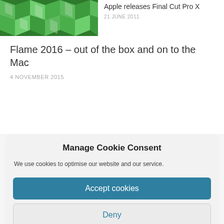[Figure (photo): Green abstract 3D cubes/blocks image used as article thumbnail]
Apple releases Final Cut Pro X
21 JUNE 2011
Flame 2016 – out of the box and on to the Mac
4 NOVEMBER 2015
Manage Cookie Consent
We use cookies to optimise our website and our service.
Accept cookies
Deny
View preferences